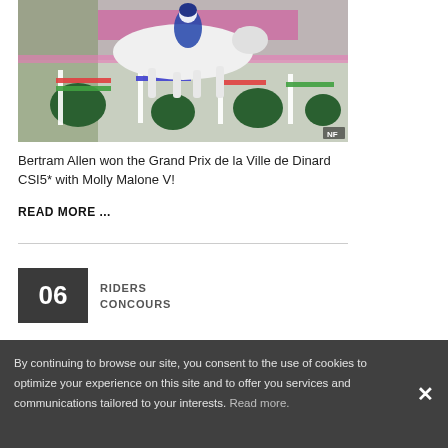[Figure (photo): Equestrian show jumping photo: a rider on a white horse clearing a jump at what appears to be CSI5* Dinard competition, crowd and colorful obstacles visible. NF watermark in bottom right.]
Bertram Allen won the Grand Prix de la Ville de Dinard CSI5* with Molly Malone V!
READ MORE ...
06
RIDERS
CONCOURS
By continuing to browse our site, you consent to the use of cookies to optimize your experience on this site and to offer you services and communications tailored to your interests. Read more.